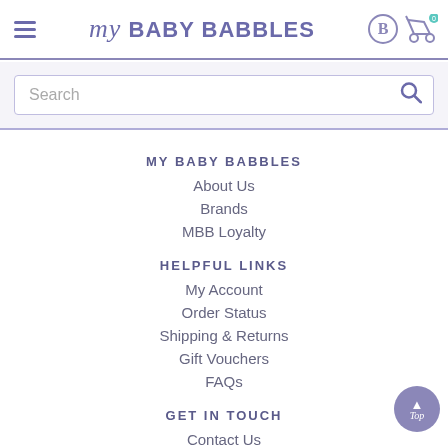my BABY BABBLES
Search
MY BABY BABBLES
About Us
Brands
MBB Loyalty
HELPFUL LINKS
My Account
Order Status
Shipping & Returns
Gift Vouchers
FAQs
GET IN TOUCH
Contact Us
+91 9920771801
info@mybabybabbles.com